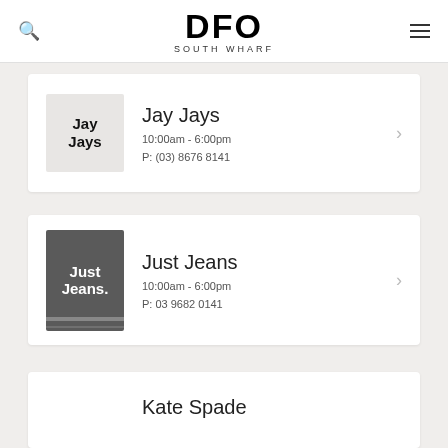DFO SOUTH WHARF
[Figure (logo): Jay Jays store logo - grey background with bold black text reading Jay Jays]
Jay Jays
10:00am - 6:00pm
P: (03) 8676 8141
[Figure (logo): Just Jeans store logo - dark grey background with white bold text reading Just Jeans, with decorative bar at bottom]
Just Jeans
10:00am - 6:00pm
P: 03 9682 0141
Kate Spade